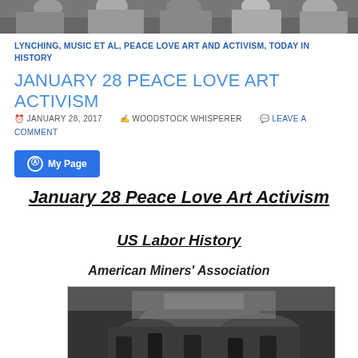[Figure (photo): Horizontal banner photo of people at top of page, partially cropped, grayscale/color tones]
LYNCHING, MUSIC ET AL, PEACE LOVE ART AND ACTIVISM, TODAY IN HISTORY
JANUARY 28 PEACE LOVE ART ACTIVISM
JANUARY 28, 2017   WOODSTOCK WHISPERER   LEAVE A COMMENT
My Page
January 28 Peace Love Art Activism
US Labor History
American Miners' Association
[Figure (photo): Black and white historical photograph, appears to show miners or industrial workers scene]